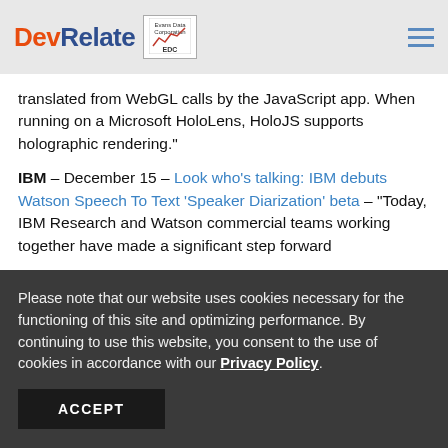DevRelate | Evans Data Corporation EDC
translated from WebGL calls by the JavaScript app. When running on a Microsoft HoloLens, HoloJS supports holographic rendering."
IBM – December 15 – Look who's talking: IBM debuts Watson Speech To Text 'Speaker Diarization' beta – "Today, IBM Research and Watson commercial teams working together have made a significant step forward
Please note that our website uses cookies necessary for the functioning of this site and optimizing performance. By continuing to use this website, you consent to the use of cookies in accordance with our Privacy Policy.
ACCEPT